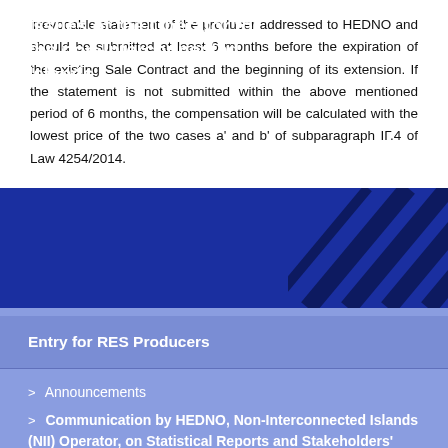irrevocable statement of the producer addressed to HEDNO and should be submitted at least 6 months before the expiration of the existing Sale Contract and the beginning of its extension. If the statement is not submitted within the above mentioned period of 6 months, the compensation will be calculated with the lowest price of the two cases a' and b' of subparagraph ΙΓ.4 of Law 4254/2014.
Issues of the Operator for the non-Interconnected Islands
Entry for RES Producers
Announcements
Communication by HEDNO, Non-Interconnected Islands (NII) Operator, on Statistical Reports and Stakeholders' Monthly Reports for the NIIs and the SCS of Crete (July 2022)